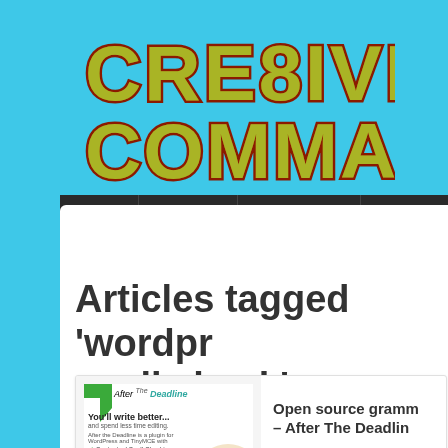[Figure (logo): Cre8ive Commando logo with stylized graffiti-style text in yellow/green with red outline on sky blue background]
Home | Tutorials | Web Design | Logo Design | To...
Articles tagged ‘wordpress spell check’
[Figure (screenshot): After The Deadline plugin screenshot showing 'You'll write better... and spend less time editing' with checkmarks for Contextual Spell Checking, Advanced Style Checking, Intelligent Grammar Checking, and a hand writing with pen]
Open source grammar – After The Deadline
Tuesday October 27, 2009  12 Co...